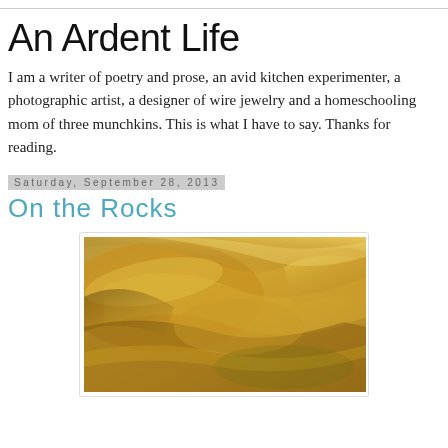An Ardent Life
I am a writer of poetry and prose, an avid kitchen experimenter, a photographic artist, a designer of wire jewelry and a homeschooling mom of three munchkins. This is what I have to say. Thanks for reading.
Saturday, September 28, 2013
On the Rocks
[Figure (photo): Close-up photograph of golden-yellow glossy candy or caramel being pulled or folded, showing shiny stretched sugar/candy texture in warm amber tones]